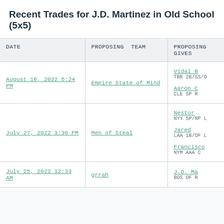Recent Trades for J.D. Martinez in Old School (5x5)
| DATE | PROPOSING TEAM | PROPOSING
GIVES |
| --- | --- | --- |
| August 16, 2022 5:24 PM | Empire State of Mind | Vidal B
TBR 2B/SS/O
Aaron C
CLE SP R |
| July 27, 2022 3:36 PM | Men of Steal | Nestor
NYY SP/RP L
Jared
LAA 1B/OF L
Francisco
NYM AAA C |
| July 25, 2022 12:33 AM | grrah | J.D. Ma
BOS OF R |